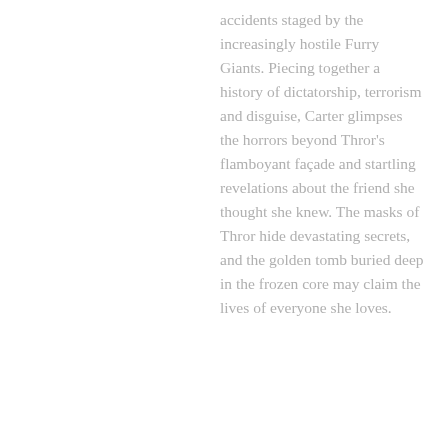accidents staged by the increasingly hostile Furry Giants. Piecing together a history of dictatorship, terrorism and disguise, Carter glimpses the horrors beyond Thror's flamboyant façade and startling revelations about the friend she thought she knew. The masks of Thror hide devastating secrets, and the golden tomb buried deep in the frozen core may claim the lives of everyone she loves.